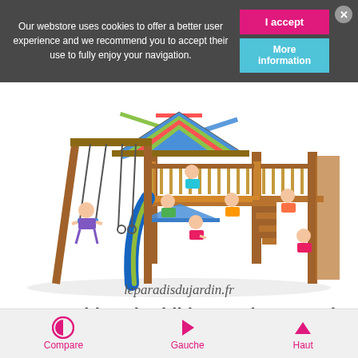Our webstore uses cookies to offer a better user experience and we recommend you to accept their use to fully enjoy your navigation.
[Figure (illustration): Colorful children's outdoor playground set with swings, slides, climbing wall and playhouse with striped roof. Children are playing on various parts of the structure. Below the image is the watermark text 'leparadisdujardin.fr' in italic script.]
Northbrook Children's Playground
Compare   Gauche   Haut